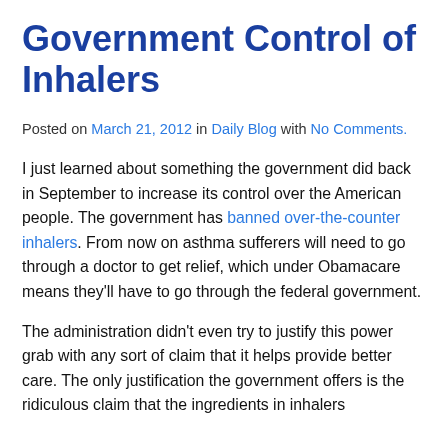Government Control of Inhalers
Posted on March 21, 2012 in Daily Blog with No Comments.
I just learned about something the government did back in September to increase its control over the American people. The government has banned over-the-counter inhalers. From now on asthma sufferers will need to go through a doctor to get relief, which under Obamacare means they'll have to go through the federal government.
The administration didn't even try to justify this power grab with any sort of claim that it helps provide better care. The only justification the government offers is the ridiculous claim that the ingredients in inhalers